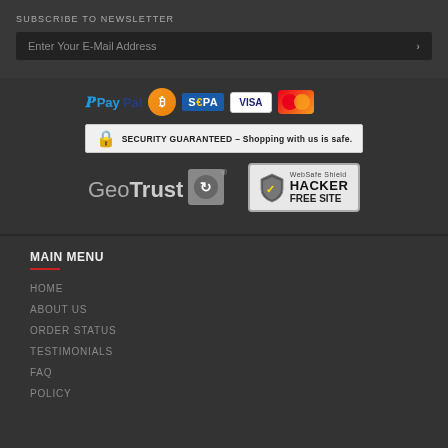SUBSCRIBE TO NEWSLETTER
Enter Your E-Mail Address
[Figure (logo): Payment method logos: PayPal, Bitcoin, SEPA, VISA, MasterCard]
SECURITY GUARANTEED – Shopping with us is safe.
[Figure (logo): GeoTrust logo and WebSafe Shield HACKER FREE SITE badge]
MAIN MENU
HOME
ABOUT US
ORDER STATUS
TESTIMONIALS
FAQ
POLICY